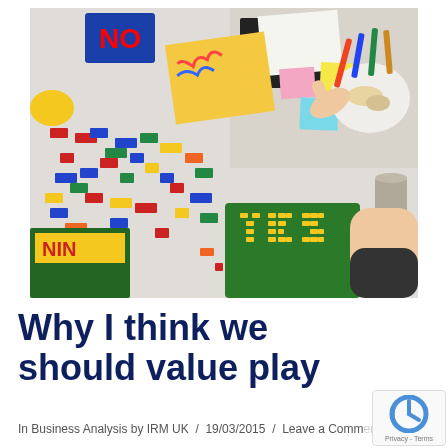[Figure (photo): Overhead view of a table covered with colourful LEGO bricks, post-it notes, markers, papers, books and food. In the upper right a hand reaches down to write; in the lower right another arm is visible. On a green LEGO base plate the word YES is spelled out in yellow bricks. A blue sign with ON in red letters is visible top-left.]
Why I think we should value play
In Business Analysis by IRM UK / 19/03/2015 / Leave a Comment